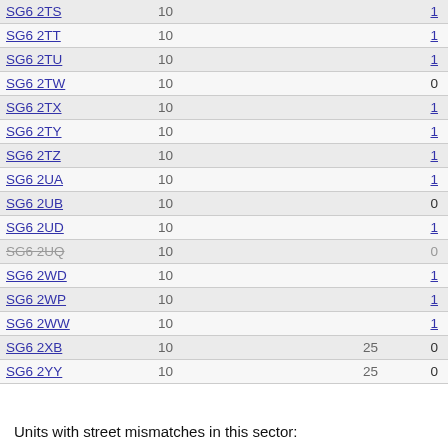| Postcode | Units | Streets | Mismatches |
| --- | --- | --- | --- |
| SG6 2TS | 10 |  | 1 |
| SG6 2TT | 10 |  | 1 |
| SG6 2TU | 10 |  | 1 |
| SG6 2TW | 10 |  | 0 |
| SG6 2TX | 10 |  | 1 |
| SG6 2TY | 10 |  | 1 |
| SG6 2TZ | 10 |  | 1 |
| SG6 2UA | 10 |  | 1 |
| SG6 2UB | 10 |  | 0 |
| SG6 2UD | 10 |  | 1 |
| SG6 2UQ | 10 |  | 0 |
| SG6 2WD | 10 |  | 1 |
| SG6 2WP | 10 |  | 1 |
| SG6 2WW | 10 |  | 1 |
| SG6 2XB | 10 | 25 | 0 |
| SG6 2YY | 10 | 25 | 0 |
Units with street mismatches in this sector: